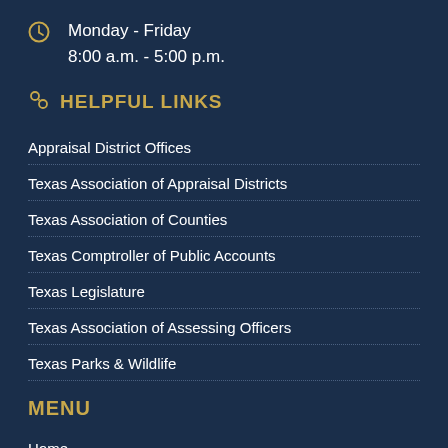Monday - Friday
8:00 a.m. - 5:00 p.m.
HELPFUL LINKS
Appraisal District Offices
Texas Association of Appraisal Districts
Texas Association of Counties
Texas Comptroller of Public Accounts
Texas Legislature
Texas Association of Assessing Officers
Texas Parks & Wildlife
MENU
Home